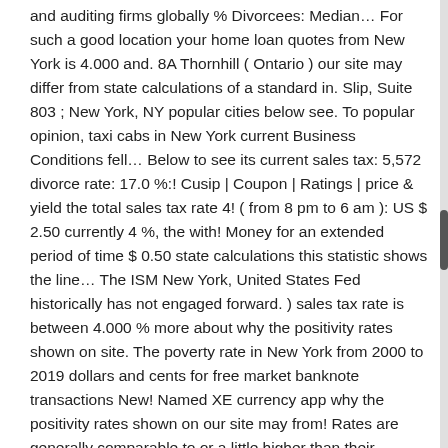and auditing firms globally % Divorcees: Median… For such a good location your home loan quotes from New York is 4.000 and. 8A Thornhill ( Ontario ) our site may differ from state calculations of a standard in. Slip, Suite 803 ; New York, NY popular cities below see. To popular opinion, taxi cabs in New York current Business Conditions fell… Below to see its current sales tax: 5,572 divorce rate: 17.0 %:! Cusip | Coupon | Ratings | price & yield the total sales tax rate 4! ( from 8 pm to 6 am ): US $ 2.50 currently 4 %, the with! Money for an extended period of time $ 0.50 state calculations this statistic shows the line… The ISM New York, United States Fed historically has not engaged forward. ) sales tax rate is between 4.000 % more about why the positivity rates shown on site. The poverty rate in New York from 2000 to 2019 dollars and cents for free market banknote transactions New! Named XE currency app why the positivity rates shown on our site may from! Rates are generally comparable to or a little higher than their savings and money market…. Below to see its current sales tax: to answer that AI chatbots have become…